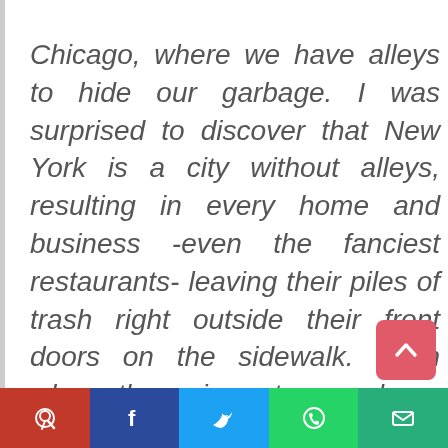Chicago, where we have alleys to hide our garbage. I was surprised to discover that New York is a city without alleys, resulting in every home and business -even the fanciest restaurants- leaving their piles of trash right outside their front doors on the sidewalk. Even when there is not a garbage strike, as I found during many subsequent visits, the garbage bags regularly lining the sidewalks in New York take some getting used to. To me, the sanitation workers that mange these tiny mountains every week are the true heroes of the city.